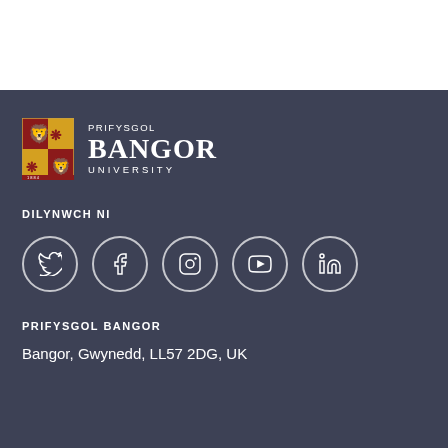[Figure (logo): Bangor University logo with heraldic shield and text 'PRIFYSGOL BANGOR UNIVERSITY']
DILYNWCH NI
[Figure (infographic): Five social media icons in circles: Twitter, Facebook, Instagram, YouTube, LinkedIn]
PRIFYSGOL BANGOR
Bangor, Gwynedd, LL57 2DG, UK